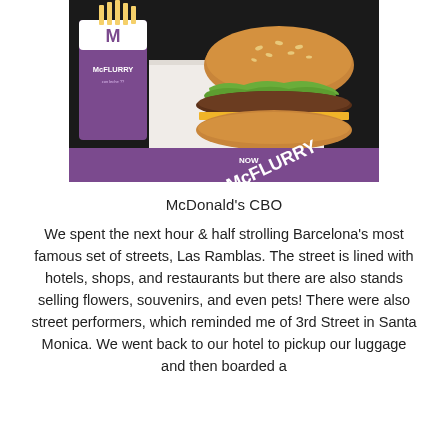[Figure (photo): Photo of McDonald's CBO burger in a white box with a McFlurry cup and french fries visible in the background. A purple McFlurry tray is visible in the foreground.]
McDonald's CBO
We spent the next hour & half strolling Barcelona's most famous set of streets, Las Ramblas. The street is lined with hotels, shops, and restaurants but there are also stands selling flowers, souvenirs, and even pets! There were also street performers, which reminded me of 3rd Street in Santa Monica. We went back to our hotel to pickup our luggage and then boarded a